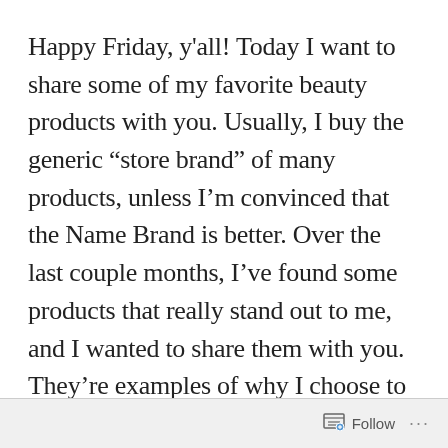Happy Friday, y'all! Today I want to share some of my favorite beauty products with you. Usually, I buy the generic “store brand” of many products, unless I’m convinced that the Name Brand is better. Over the last couple months, I’ve found some products that really stand out to me, and I wanted to share them with you. They’re examples of why I choose to pay a little extra for good-quality products.
1. L’Oreal Paris Detox & Brighten Pure-Clay
Follow ...